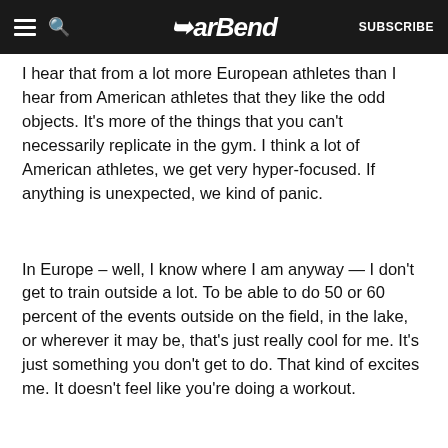BarBend — SUBSCRIBE
I hear that from a lot more European athletes than I hear from American athletes that they like the odd objects. It's more of the things that you can't necessarily replicate in the gym. I think a lot of American athletes, we get very hyper-focused. If anything is unexpected, we kind of panic.
In Europe – well, I know where I am anyway — I don't get to train outside a lot. To be able to do 50 or 60 percent of the events outside on the field, in the lake, or wherever it may be, that's just really cool for me. It's just something you don't get to do. That kind of excites me. It doesn't feel like you're doing a workout.